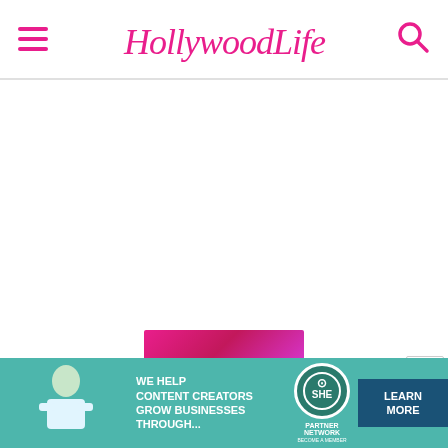Hollywood Life
[Figure (other): White blank content area / advertisement placeholder]
[Figure (other): SEE PIC pink-to-purple gradient button]
Tracee Ellis Ross Goes Makeup-Free & Poses In A Bikini By The Pool After
[Figure (other): SHE Media Partner Network advertisement banner with teal background, text: WE HELP CONTENT CREATORS GROW BUSINESSES THROUGH... and LEARN MORE button]